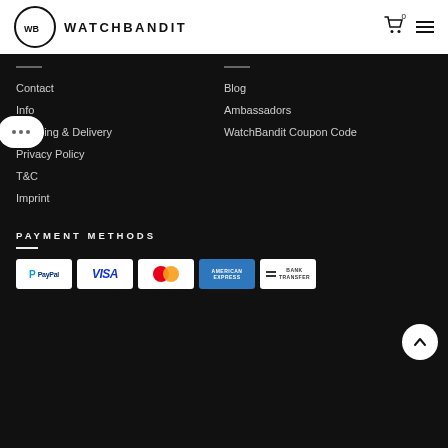WATCHBANDIT
Contact
Info
Shipping & Delivery
Privacy Policy
T&C
Imprint
Blog
Ambassadors
WatchBandit Coupon Code
PAYMENT METHODS
[Figure (logo): Payment method logos: PayPal, Visa, MasterCard, American Express, Bank Transfer]